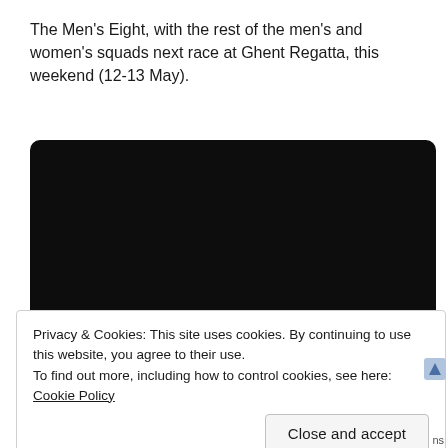The Men's Eight, with the rest of the men's and women's squads next race at Ghent Regatta, this weekend (12-13 May).
[Figure (other): Black video player embed with rounded corners]
Privacy & Cookies: This site uses cookies. By continuing to use this website, you agree to their use.
To find out more, including how to control cookies, see here: Cookie Policy
Close and accept